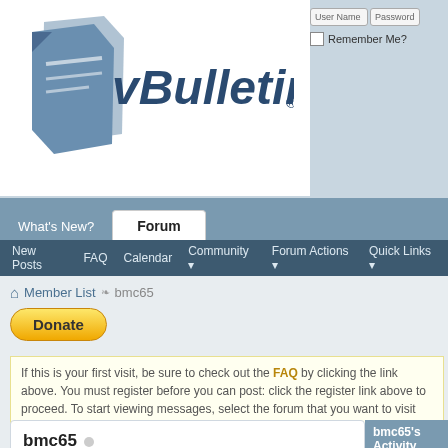[Figure (logo): vBulletin logo with blue angular bookmark icon and stylized text 'vBulletin']
User Name   Password
Remember Me?
What's New?  Forum
New Posts  FAQ  Calendar  Community  Forum Actions  Quick Links
🏠 Member List > bmc65
Donate
If this is your first visit, be sure to check out the FAQ by clicking the link above. You must register before you can post: click the register link above to proceed. To start viewing messages, select the forum that you want to visit from the selection below.
bmc65 ○
Veteran Member
Find latest posts
Find latest started threads
| Field | Value |
| --- | --- |
| Join Date: | 11-17-10 |
| Last | 02-16-20 |
bmc65's Activity
All  bmc65  F...
Juliea...
Vitami...
Revers...
Diseas...